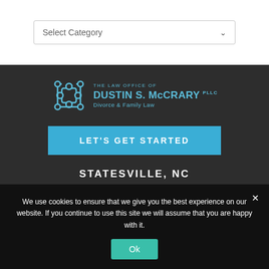[Figure (screenshot): A dropdown select box with label 'Select Category' and a chevron arrow on the right]
[Figure (logo): The Law Office of Dustin S. McCrary PLLC Divorce & Family Law logo with puzzle-piece icon in teal on dark background]
LET'S GET STARTED
STATESVILLE, NC
We use cookies to ensure that we give you the best experience on our website. If you continue to use this site we will assume that you are happy with it.
Ok